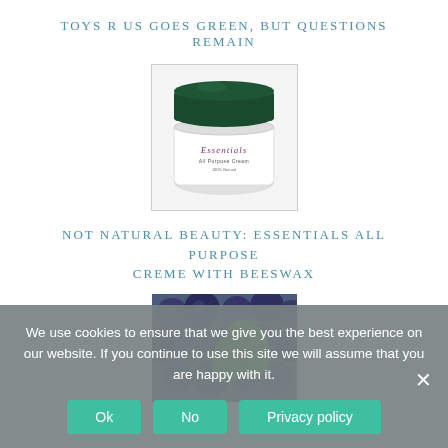TOYS R US GOES GREEN, BUT QUESTIONS REMAIN
[Figure (photo): A white jar of Essentials All Purpose Cream with a dark green lid]
NOT NATURAL BEAUTY: ESSENTIALS ALL PURPOSE CREME WITH BEESWAX
[Figure (photo): Close-up photo of blueberries with green mint leaves]
We use cookies to ensure that we give you the best experience on our website. If you continue to use this site we will assume that you are happy with it.